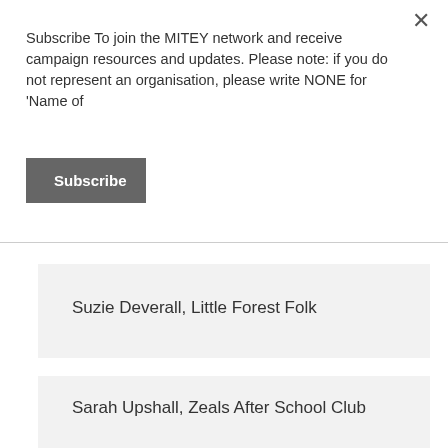Subscribe To join the MITEY network and receive campaign resources and updates. Please note: if you do not represent an organisation, please write NONE for 'Name of
Subscribe
Suzie Deverall, Little Forest Folk
Sarah Upshall, Zeals After School Club